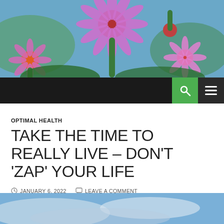[Figure (photo): Header photo of purple/pink echinacea (coneflowers) in bloom against a blue sky and green mountain background]
[Figure (screenshot): Black navigation bar with green search button (magnifying glass icon) and dark hamburger menu button]
OPTIMAL HEALTH
TAKE THE TIME TO REALLY LIVE – DON'T 'ZAP' YOUR LIFE
JANUARY 6, 2022   LEAVE A COMMENT
[Figure (photo): Partial bottom image showing a blue sky with clouds, cropped at the bottom of the page]